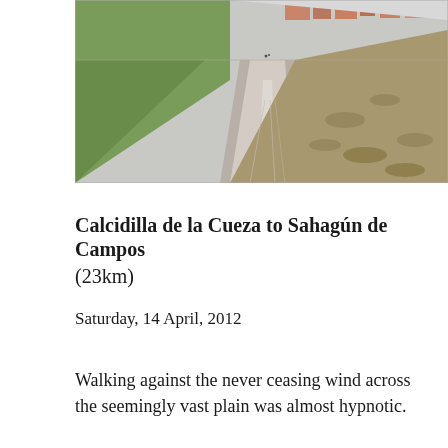[Figure (photo): A gravel dirt road stretching into the distance across a flat plain, with green fields on the left and dry scrubland on the right. Buildings are visible in the far background. The road leads straight ahead toward the horizon.]
Calcidilla de la Cueza to Sahagún de Campos (23km)
Saturday, 14 April, 2012
Walking against the never ceasing wind across the seemingly vast plain was almost hypnotic.